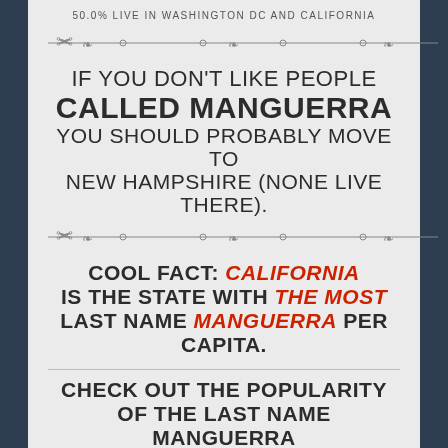50.0% LIVE IN WASHINGTON DC AND CALIFORNIA
[Figure (illustration): Decorative divider with ornamental scissors and flourishes]
IF YOU DON'T LIKE PEOPLE CALLED MANGUERRA YOU SHOULD PROBABLY MOVE TO NEW HAMPSHIRE (NONE LIVE THERE).
[Figure (illustration): Decorative divider with ornamental scissors and flourishes]
COOL FACT: CALIFORNIA IS THE STATE WITH THE MOST LAST NAME MANGUERRA PER CAPITA.
CHECK OUT THE POPULARITY OF THE LAST NAME MANGUERRA FOR EACH STATE IN THE MAP BELOW